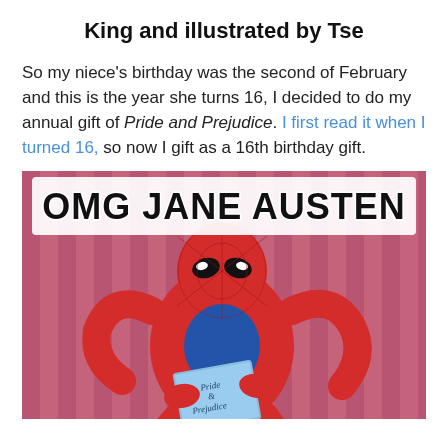King and illustrated by Tse
So my niece's birthday was the second of February and this is the year she turns 16, I decided to do my annual gift of Pride and Prejudice. I first read it when I turned 16, so now I gift as a 16th birthday gift.
[Figure (photo): Meme image of Spider-Man (classic animated style) holding a book labeled 'Pride & Prejudice' with text overlay reading 'OMG JANE AUSTEN'. The background is pink/mauve vertical stripes. Spider-Man is in red and blue suit, leaning back dramatically.]